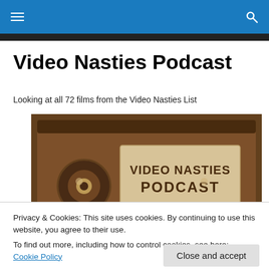Video Nasties Podcast — navigation bar with menu and search icons
Video Nasties Podcast
Looking at all 72 films from the Video Nasties List
[Figure (photo): Close-up sepia-toned photo of a VHS tape with a label reading 'VIDEO NASTIES PODCAST']
Privacy & Cookies: This site uses cookies. By continuing to use this website, you agree to their use.
To find out more, including how to control cookies, see here: Cookie Policy